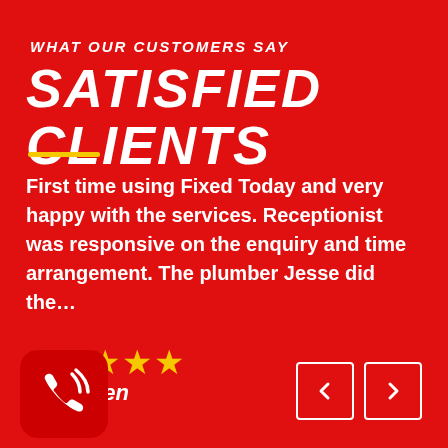WHAT OUR CUSTOMERS SAY
SATISFIED CLIENTS
First time using Fixed Today and very happy with the services. Receptionist was responsive on the enquiry and time arrangement. The plumber Jesse did the…
★★★★★
Chen
[Figure (illustration): Phone icon with signal waves in a rounded dark red square badge]
[Figure (other): Navigation left and right arrow buttons with white border squares]